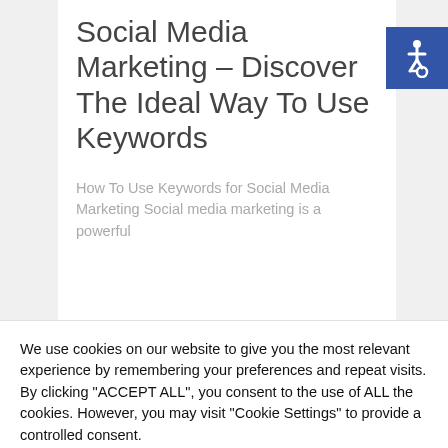Social Media Marketing – Discover The Ideal Way To Use Keywords
How To Use Keywords for Social Media Marketing Social media marketing is a powerful
[Figure (illustration): Accessibility icon (wheelchair symbol) in white on blue square background]
We use cookies on our website to give you the most relevant experience by remembering your preferences and repeat visits. By clicking "ACCEPT ALL", you consent to the use of ALL the cookies. However, you may visit "Cookie Settings" to provide a controlled consent.
Cookie Settings   REJECT ALL   ACCEPT ALL